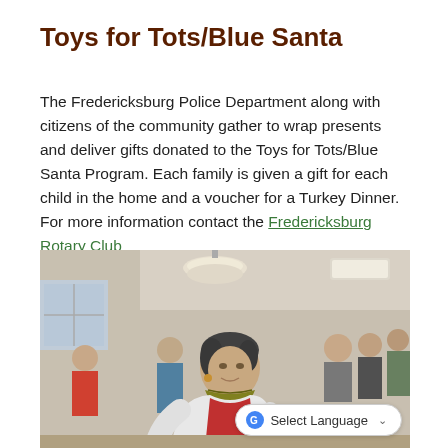Toys for Tots/Blue Santa
The Fredericksburg Police Department along with citizens of the community gather to wrap presents and deliver gifts donated to the Toys for Tots/Blue Santa Program. Each family is given a gift for each child in the home and a voucher for a Turkey Dinner. For more information contact the Fredericksburg Rotary Club
[Figure (photo): Indoor community event showing people gathered around tables wrapping gifts. A woman in a white jacket and green scarf is prominently in the foreground, focused on wrapping. Other community members are visible in the background in a large room with fluorescent lighting.]